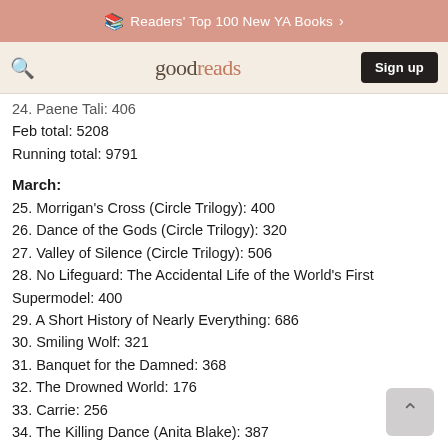Readers' Top 100 New YA Books
goodreads  Sign up
24. Paene Tali: 406
Feb total: 5208
Running total: 9791
March:
25. Morrigan's Cross (Circle Trilogy): 400
26. Dance of the Gods (Circle Trilogy): 320
27. Valley of Silence (Circle Trilogy): 506
28. No Lifeguard: The Accidental Life of the World's First Supermodel: 400
29. A Short History of Nearly Everything: 686
30. Smiling Wolf: 321
31. Banquet for the Damned: 368
32. The Drowned World: 176
33. Carrie: 256
34. The Killing Dance (Anita Blake): 387
35. The Vampyre: 416
36. The Grapes of Wrath: 464
37. Burnt Offerings (Anita Blake): 392
March total: 5092